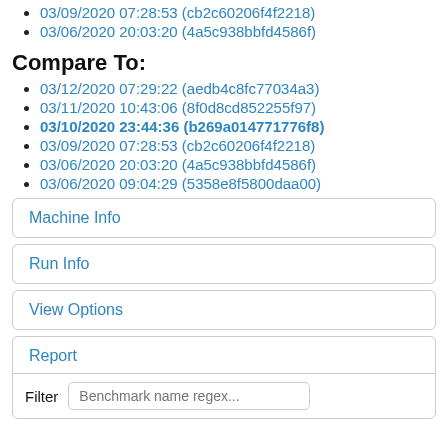03/09/2020 07:28:53 (cb2c60206f4f2218)
03/06/2020 20:03:20 (4a5c938bbfd4586f)
Compare To:
03/12/2020 07:29:22 (aedb4c8fc77034a3)
03/11/2020 10:43:06 (8f0d8cd852255f97)
03/10/2020 23:44:36 (b269a014771776f8)
03/09/2020 07:28:53 (cb2c60206f4f2218)
03/06/2020 20:03:20 (4a5c938bbfd4586f)
03/06/2020 09:04:29 (5358e8f5800daa00)
Machine Info
Run Info
View Options
Report
Filter Benchmark name regex...